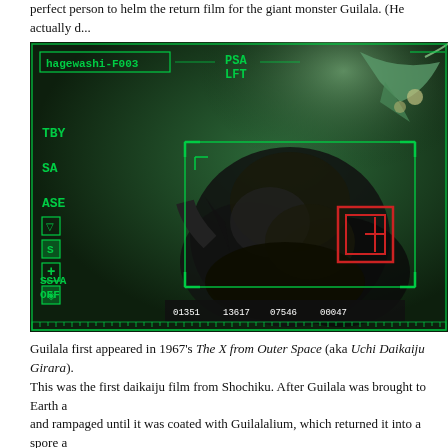perfect person to helm the return film for the giant monster Guilala. (He actually d... Tiga.)
[Figure (screenshot): A green-tinted HUD (heads-up display) screen showing the giant monster Guilala being tracked, with targeting reticle, status indicators (hagewashi-F003, PSA LFT, TBY, SA, ASE, SSVA OFF), numerical readouts at the bottom (01351, 13617, 07546, 00047), and a red crosshair target box overlaid on the monster.]
Guilala first appeared in 1967's The X from Outer Space (aka Uchi Daikaiju Girara). This was the first daikaiju film from Shochiku. After Guilala was brought to Earth a and rampaged until it was coated with Guilalalium, which returned it into a spore a goofy monster design is probably what the film is best remembered for. There hav returning, most noticeably the long-standing rumor that he would fight Gappa, ano shot deal from the Nikkatsu studios. And now Guilala reappears years later in The